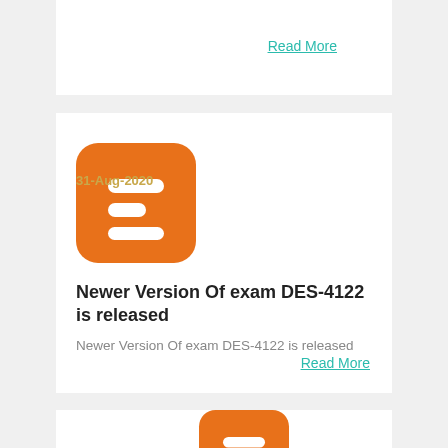Read More
[Figure (logo): Blogger orange logo icon]
31-Aug-2020
Newer Version Of exam DES-4122 is released
Newer Version Of exam DES-4122 is released
Read More
[Figure (logo): Blogger orange logo icon (partial)]
31-Aug-2020